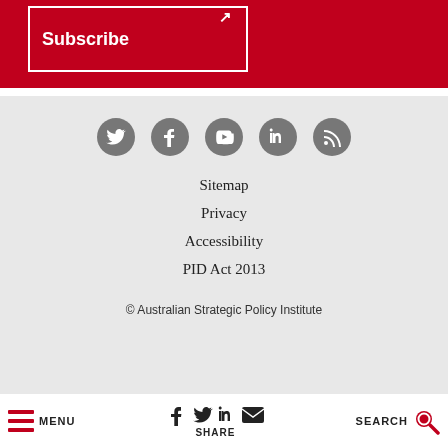[Figure (other): Red subscribe banner with white border box containing 'Subscribe' text and arrow icon]
[Figure (other): Footer social media icons: Twitter, Facebook, YouTube, LinkedIn, RSS feed - gray circular icons]
Sitemap
Privacy
Accessibility
PID Act 2013
© Australian Strategic Policy Institute
MENU | SHARE (Facebook, Twitter, LinkedIn, Email) | SEARCH